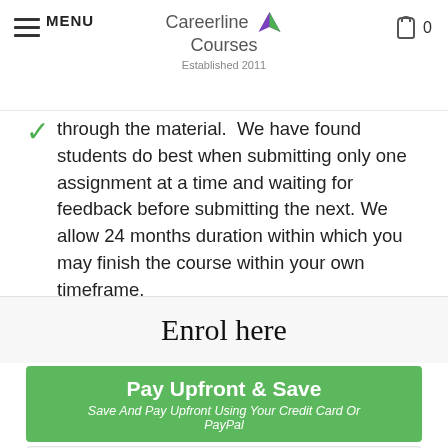MENU | Careerline Courses Established 2011 | 0
through the material. We have found students do best when submitting only one assignment at a time and waiting for feedback before submitting the next. We allow 24 months duration within which you may finish the course within your own timeframe.
Enrol here
Pay Upfront & Save
Save And Pay Upfront Using Your Credit Card Or PayPal